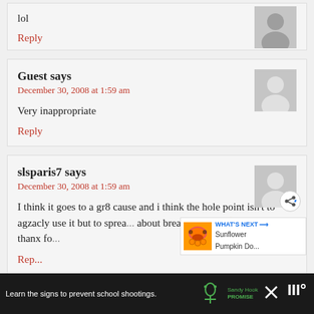lol
Reply
Guest says
December 30, 2008 at 1:59 am
Very inappropriate
Reply
slsparis7 says
December 30, 2008 at 1:59 am
I think it goes to a gr8 cause and i think the hole point isn't to agzacly use it but to sprea... about breast cancer! 🙂 very creative thanx fo...
WHAT'S NEXT → Sunflower Pumpkin Do...
Reply
Learn the signs to prevent school shootings.